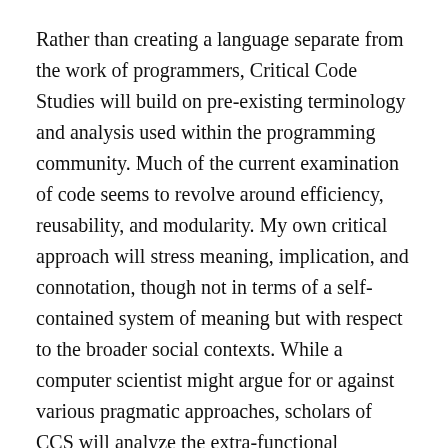Rather than creating a language separate from the work of programmers, Critical Code Studies will build on pre-existing terminology and analysis used within the programming community. Much of the current examination of code seems to revolve around efficiency, reusability, and modularity. My own critical approach will stress meaning, implication, and connotation, though not in terms of a self-contained system of meaning but with respect to the broader social contexts. While a computer scientist might argue for or against various pragmatic approaches, scholars of CCS will analyze the extra-functional significance of the code.